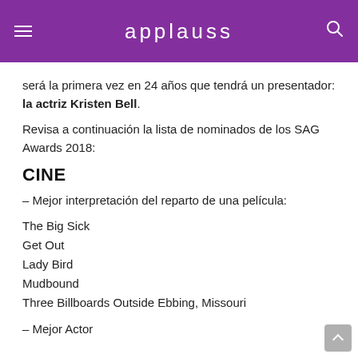applauss
será la primera vez en 24 años que tendrá un presentador: la actriz Kristen Bell.
Revisa a continuación la lista de nominados de los SAG Awards 2018:
CINE
– Mejor interpretación del reparto de una película:
The Big Sick
Get Out
Lady Bird
Mudbound
Three Billboards Outside Ebbing, Missouri
– Mejor Actor